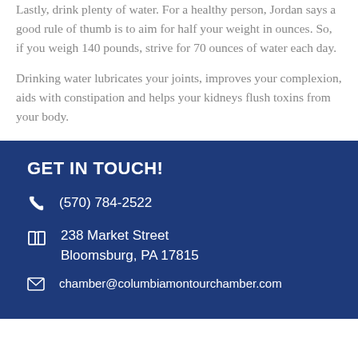Lastly, drink plenty of water. For a healthy person, Jordan says a good rule of thumb is to aim for half your weight in ounces. So, if you weigh 140 pounds, strive for 70 ounces of water each day.
Drinking water lubricates your joints, improves your complexion, aids with constipation and helps your kidneys flush toxins from your body.
GET IN TOUCH!
(570) 784-2522
238 Market Street
Bloomsburg, PA 17815
chamber@columbiamontourchamber.com